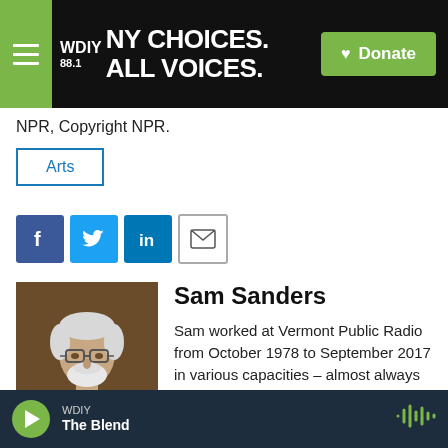WDIY 88.1 | NY CHOICES. ALL VOICES. | Donate
NPR, Copyright NPR.
Arts
[Figure (other): Social sharing buttons: Facebook, Twitter, LinkedIn, Email]
[Figure (photo): Headshot of Sam Sanders: older man with white hair, white beard, glasses, wearing red shirt and dark tie]
Sam Sanders
Sam worked at Vermont Public Radio from October 1978 to September 2017 in various capacities – almost always involving audio engineering. He excels at
WDIY | The Blend